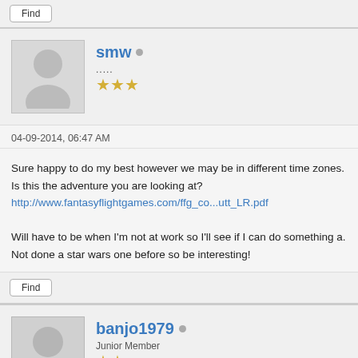Find
smw
.....
★★★
04-09-2014, 06:47 AM
Sure happy to do my best however we may be in different time zones. Is this the adventure you are looking at?
http://www.fantasyflightgames.com/ffg_co...utt_LR.pdf

Will have to be when I'm not at work so I'll see if I can do something a. Not done a star wars one before so be interesting!
Find
banjo1979
Junior Member
★★